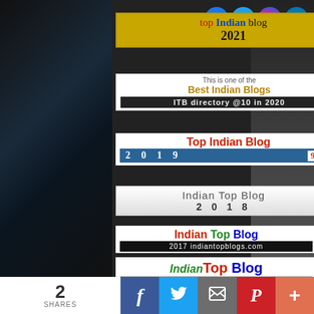[Figure (logo): Top Indian Blog 2021 badge - yellow background with red and blue text]
[Figure (logo): Best Indian Blogs ITB directory @10 in 2020 badge]
[Figure (logo): Top Indian Blog 2019 9th badge - red text on white with blue bar]
[Figure (logo): Indian Top Blog 2018 badge - gray gradient]
[Figure (logo): Indian Top Blog 2017 indiantopblogs.com badge]
[Figure (logo): Indian Top Blog IndianTopBlogs.com 2016 badge]
[Figure (logo): Top Indian Blog 2014-15 IndianTopBlogs.com five star badge]
[Figure (infographic): Social share bar at bottom: 2 SHARES, Facebook, Twitter, Email, Pinterest, Plus buttons]